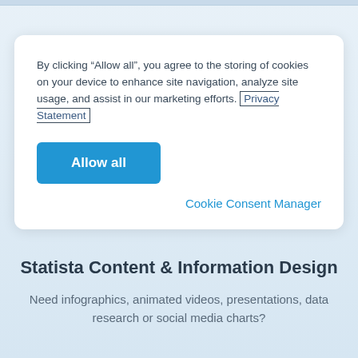By clicking “Allow all”, you agree to the storing of cookies on your device to enhance site navigation, analyze site usage, and assist in our marketing efforts. Privacy Statement
Allow all
Cookie Consent Manager
Statista Content & Information Design
Need infographics, animated videos, presentations, data research or social media charts?